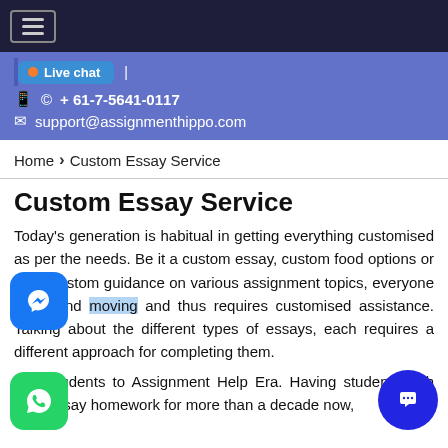≡ (hamburger menu)
Live chat | 📱 © + 61-7-5641-0117 | ✉ support@assignmenthippo.com
Home › Custom Essay Service
Custom Essay Service
Today's generation is habitual in getting everything customised as per the needs. Be it a custom essay, custom food options or even custom guidance on various assignment topics, everyone is up and moving and thus requires customised assistance. Talking about the different types of essays, each requires a different approach for completing them.
ings students to Assignment Help Era. Having students with their essay homework for more than a decade now,